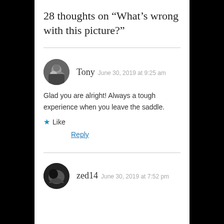28 thoughts on “What’s wrong with this picture?”
Glad you are alright! Always a tough experience when you leave the saddle.
Like
Reply